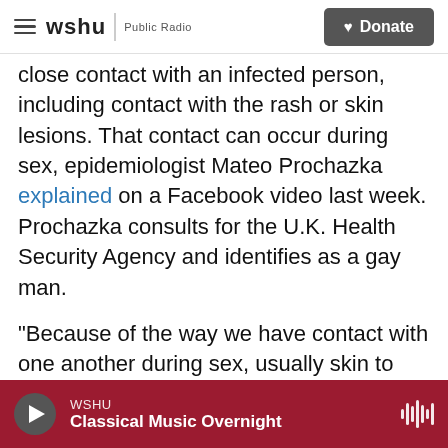wshu | Public Radio — Donate
close contact with an infected person, including contact with the rash or skin lesions. That contact can occur during sex, epidemiologist Mateo Prochazka explained on a Facebook video last week. Prochazka consults for the U.K. Health Security Agency and identifies as a gay man.
"Because of the way we have contact with one another during sex, usually skin to skin for a period of time, the risk of transmitting the virus to each other is higher," he said. "And that means that gay men, especially gay men that have intense sexual networks, might be seeing an increase in these
WSHU — Classical Music Overnight